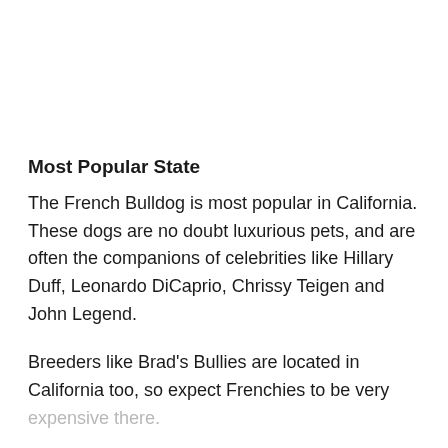Most Popular State
The French Bulldog is most popular in California. These dogs are no doubt luxurious pets, and are often the companions of celebrities like Hillary Duff, Leonardo DiCaprio, Chrissy Teigen and John Legend.
Breeders like Brad's Bullies are located in California too, so expect Frenchies to be very expensive there.